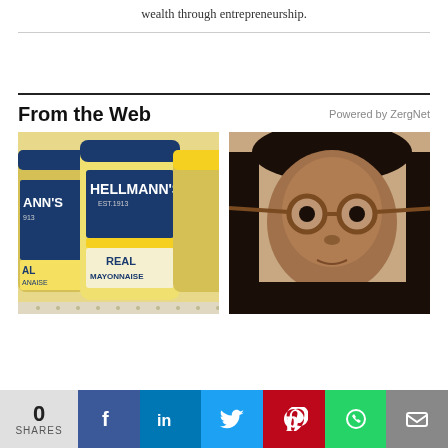wealth through entrepreneurship.
[Figure (photo): Jars of Hellmann's Real Mayonnaise on a store shelf]
[Figure (photo): Young girl with round tortoiseshell glasses looking sideways]
From the Web
Powered by ZergNet
0 SHARES